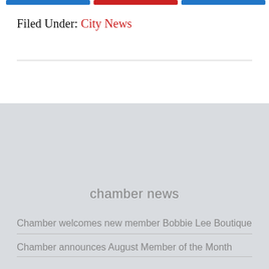[Figure (other): Three colored buttons/bars at the top: blue, red, blue]
Filed Under: City News
chamber news
Chamber welcomes new member Bobbie Lee Boutique
Chamber announces August Member of the Month